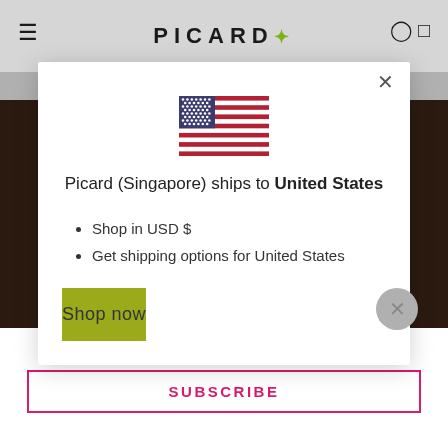[Figure (screenshot): PICARD website header with hamburger menu, PICARD logo with leaf icon, and search/cart icons on grey background]
[Figure (screenshot): Modal dialog showing US flag, shipping message, bullet list items, Shop now button, overlaid on Picard website]
Picard (Singapore) ships to United States
Shop in USD $
Get shipping options for United States
Shop now
Get 10% Off Your First Order
SUBSCRIBE